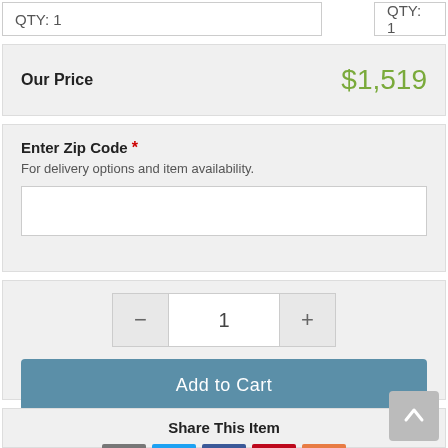QTY: 1
QTY: 1
Our Price  $1,519
Enter Zip Code * For delivery options and item availability.
1
Add to Cart
Share This Item